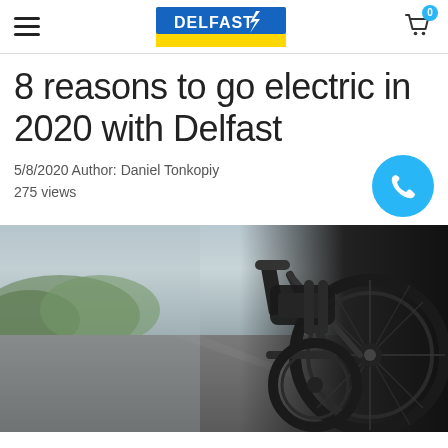Delfast - navigation header with logo and cart
8 reasons to go electric in 2020 with Delfast
5/8/2020 Author: Daniel Tonkopiy
275 views
[Figure (photo): Close-up photograph of an electric bicycle parked beside a road, showing the wheel, handlebars, and bike frame with a blurred road and greenery in the background.]